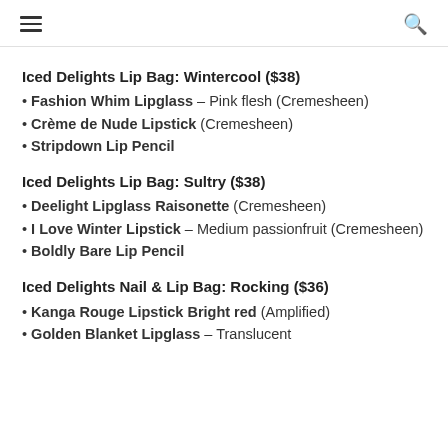≡  🔍
Iced Delights Lip Bag: Wintercool ($38)
Fashion Whim Lipglass – Pink flesh (Cremesheen)
Crème de Nude Lipstick (Cremesheen)
Stripdown Lip Pencil
Iced Delights Lip Bag: Sultry ($38)
Deelight Lipglass Raisonette (Cremesheen)
I Love Winter Lipstick – Medium passionfruit (Cremesheen)
Boldly Bare Lip Pencil
Iced Delights Nail & Lip Bag: Rocking ($36)
Kanga Rouge Lipstick Bright red (Amplified)
Golden Blanket Lipglass – Translucent